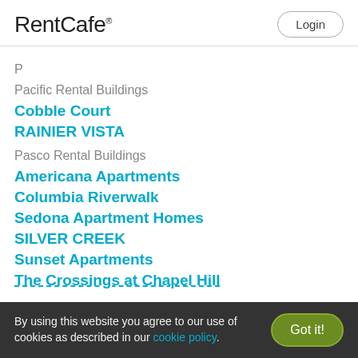RentCafe
P
Pacific Rental Buildings
Cobble Court
RAINIER VISTA
Pasco Rental Buildings
Americana Apartments
Columbia Riverwalk
Sedona Apartment Homes
SILVER CREEK
Sunset Apartments
The Crossings at Chapel Hill
By using this website you agree to our use of cookies as described in our cookie policy.